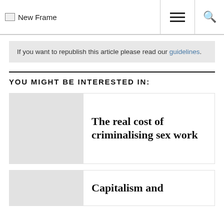New Frame
If you want to republish this article please read our guidelines.
YOU MIGHT BE INTERESTED IN:
The real cost of criminalising sex work
Capitalism and